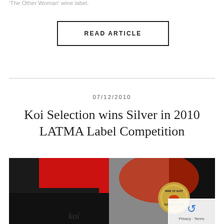'The Other Woman' wine label.
READ ARTICLE
07/12/2010
Koi Selection wins Silver in 2010 LATMA Label Competition
[Figure (photo): Close-up photograph of the Koi Selection wine bottle with red and black label design, showing a circular medal/seal with Wine of Australia branding and a koi fish design. Text 'koi' visible at bottom of bottle.]